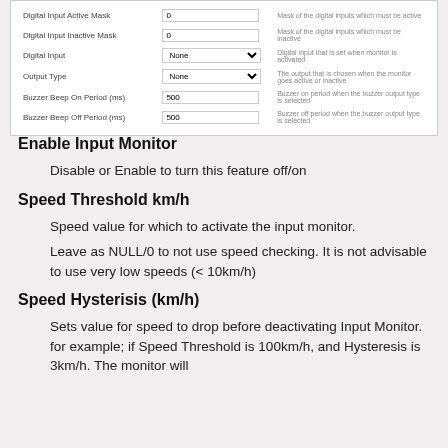[Figure (screenshot): Form table showing fields: Digital Input Active Mask (0), Digital Input Inactive Mask (0), Digital Input (None dropdown), Output Type (None dropdown), Buzzer Beep On Period ms (500), Buzzer Beep Off Period ms (500) with descriptions on the right.]
Enable Input Monitor
Disable or Enable to turn this feature off/on
Speed Threshold km/h
Speed value for which to activate the input monitor.
Leave as NULL/0 to not use speed checking. It is not advisable to use very low speeds (< 10km/h)
Speed Hysterisis (km/h)
Sets value for speed to drop before deactivating Input Monitor. for example; if Speed Threshold is 100km/h, and Hysteresis is 3km/h. The monitor will